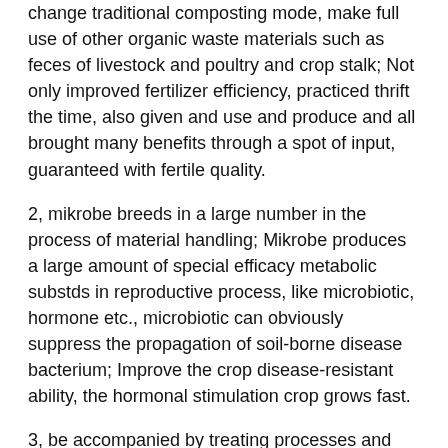change traditional composting mode, make full use of other organic waste materials such as feces of livestock and poultry and crop stalk; Not only improved fertilizer efficiency, practiced thrift the time, also given and use and produce and all brought many benefits through a spot of input, guaranteed with fertile quality.
2, mikrobe breeds in a large number in the process of material handling; Mikrobe produces a large amount of special efficacy metabolic substds in reproductive process, like microbiotic, hormone etc., microbiotic can obviously suppress the propagation of soil-borne disease bacterium; Improve the crop disease-resistant ability, the hormonal stimulation crop grows fast.
3, be accompanied by treating processes and breed the effect that the multi-functional bacterium that gets up then plays fixed nitrogen, phosphorus decomposing, potassium decomposing in a large number, improved crop greatly, generally can reduce 20‰30% of chemical fertilizer usage quantity fertilizer utilization ratio.
Product of the present invention has been inoculated the active bio bacterial classification, can be at short notice